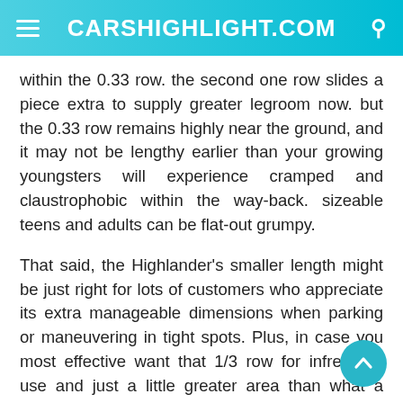CARSHIGHLIGHT.COM
within the 0.33 row. the second one row slides a piece extra to supply greater legroom now. but the 0.33 row remains highly near the ground, and it may not be lengthy earlier than your growing youngsters will experience cramped and claustrophobic within the way-back. sizeable teens and adults can be flat-out grumpy.
That said, the Highlander's smaller length might be just right for lots of customers who appreciate its extra manageable dimensions when parking or maneuvering in tight spots. Plus, in case you most effective want that 1/3 row for infrequent use and just a little greater area than what a RAV4 gives, it actually won't depend that the Highlander can't in shape its competitors' size.